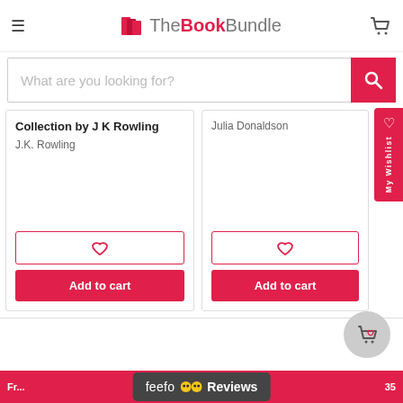[Figure (screenshot): TheBookBundle website header with hamburger menu, logo (books icon with text 'TheBookBundle'), and shopping cart icon]
What are you looking for?
My Wishlist
Collection by J K Rowling
J.K. Rowling
Add to cart
Julia Donaldson
Add to cart
[Figure (logo): Feefo reviews badge with smiley face icons and 'Reviews' text]
Fr... 35